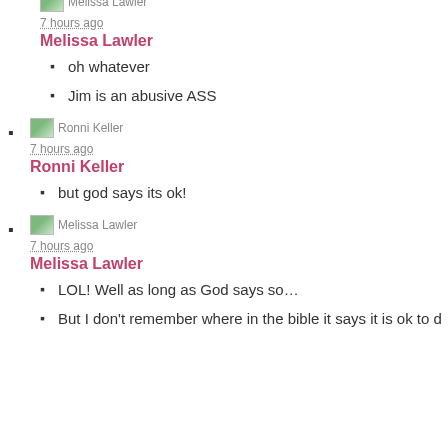[Figure (other): Avatar thumbnail for Melissa Lawler (partially visible at top)]
7 hours ago
Melissa Lawler
oh whatever
Jim is an abusive ASS
[Figure (other): Avatar thumbnail for Ronni Keller]
7 hours ago
Ronni Keller
but god says its ok!
[Figure (other): Avatar thumbnail for Melissa Lawler]
7 hours ago
Melissa Lawler
LOL! Well as long as God says so…
But I don't remember where in the bible it says it is ok to d